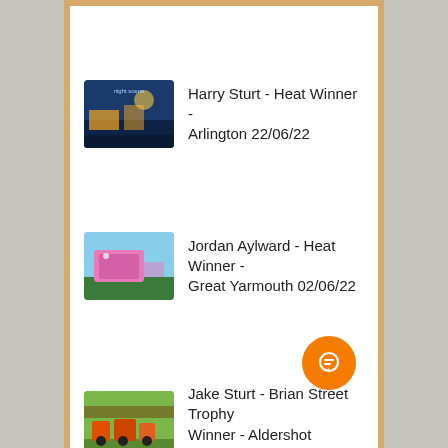[Figure (screenshot): Mobile app screenshot showing a list of motorsport race winners with thumbnail images and text entries]
Harry Sturt - Heat Winner - Arlington 22/06/22
Jordan Aylward - Heat Winner - Great Yarmouth 02/06/22
Jake Sturt - Brian Street Trophy Winner - Aldershot 15/05/22
Pat Issitt - Final Winner